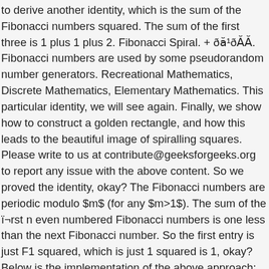to derive another identity, which is the sum of the Fibonacci numbers squared. The sum of the first three is 1 plus 1 plus 2. Fibonacci Spiral. + ð¼¹ð. Fibonacci numbers are used by some pseudorandom number generators. Recreational Mathematics, Discrete Mathematics, Elementary Mathematics. This particular identity, we will see again. Finally, we show how to construct a golden rectangle, and how this leads to the beautiful image of spiralling squares. Please write to us at contribute@geeksforgeeks.org to report any issue with the above content. So we proved the identity, okay? The Fibonacci numbers are periodic modulo $m$ (for any $m>1$). The sum of the ï¬rst n even numbered Fibonacci numbers is one less than the next Fibonacci number. So the first entry is just F1 squared, which is just 1 squared is 1, okay? Below is the implementation of the above approach: Attention reader! So we're going to start with the right-hand side and try to derive the left. Notice from the table it appears that the sum of the squares of the first n terms is the nth